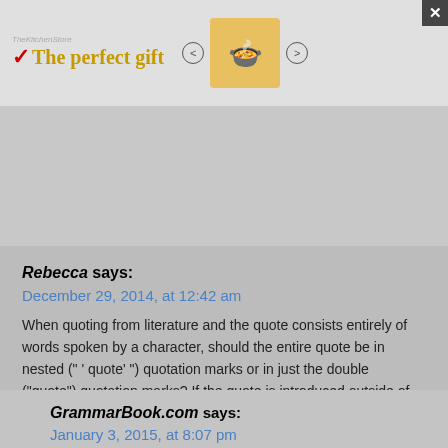[Figure (screenshot): Advertisement banner for 'The perfect gift' showing kitchen/food imagery, with '35% OFF + FREE SHIPPING' on the right, and a close (X) button]
Rebecca says:
December 29, 2014, at 12:42 am
When quoting from literature and the quote consists entirely of words spoken by a character, should the entire quote be in nested (" ‘ quote’ ") quotation marks or in just the double (“quote”) quotation marks? If the quote is introduced outside of the quotation, it seems distracting and unnecessary to use the nested quotes. Thanks.
GrammarBook.com says:
January 3, 2015, at 8:07 pm
Your question is difficult to answer without an